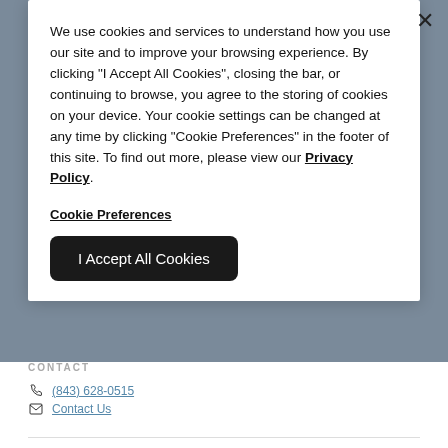[Figure (screenshot): Background website screenshot showing a property rental or hotel website with logo, navigation, GET AVAILABILITY ALERTS button, CONTACT section with phone number (843) 628-0515 and Contact Us links, and bottom image area.]
We use cookies and services to understand how you use our site and to improve your browsing experience. By clicking "I Accept All Cookies", closing the bar, or continuing to browse, you agree to the storing of cookies on your device. Your cookie settings can be changed at any time by clicking "Cookie Preferences" in the footer of this site. To find out more, please view our Privacy Policy
Cookie Preferences
I Accept All Cookies
CONTACT
(843) 628-0515
Contact Us
PET POLICY
View our Pet Policy